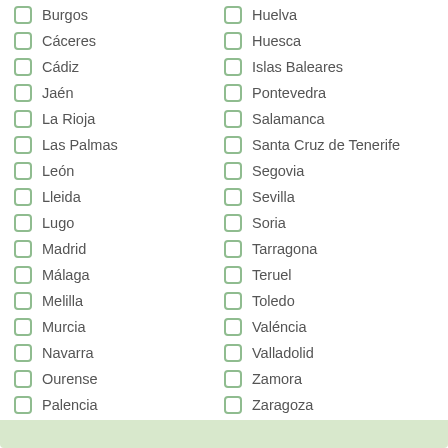Burgos
Cáceres
Cádiz
Jaén
La Rioja
Las Palmas
León
Lleida
Lugo
Madrid
Málaga
Melilla
Murcia
Navarra
Ourense
Palencia
Huelva
Huesca
Islas Baleares
Pontevedra
Salamanca
Santa Cruz de Tenerife
Segovia
Sevilla
Soria
Tarragona
Teruel
Toledo
Valéncia
Valladolid
Zamora
Zaragoza